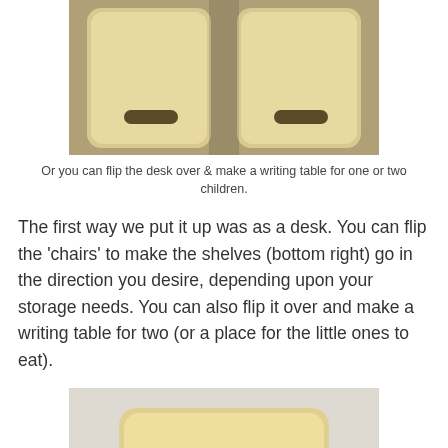[Figure (photo): Top-down view of two light wood children's chair backs/shelves with oval handles, placed side by side on a carpeted floor]
Or you can flip the desk over & make a writing table for one or two children.
The first way we put it up was as a desk. You can flip the 'chairs' to make the shelves (bottom right) go in the direction you desire, depending upon your storage needs. You can also flip it over and make a writing table for two (or a place for the little ones to eat).
[Figure (photo): Children's wooden desk and two chairs/stools set up on a carpeted floor against a white wall — the desk is visible in the background and two light wood stools with oval handles are in the foreground]